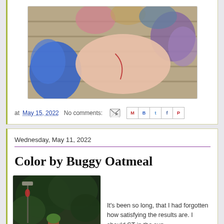[Figure (photo): Close-up photo of a hand with a scratch/wound, surrounded by colorful fabric or textile items on a wooden surface. Blue, purple, and multicolored fabrics visible.]
at May 15, 2022   No comments:
Wednesday, May 11, 2022
Color by Buggy Oatmeal
[Figure (photo): Outdoor photo showing a garden or deck area with dark green foliage, a bird feeder, and potted plants.]
It's been so long, that I had forgotten how satisfying the results are. I should ST in the sun.